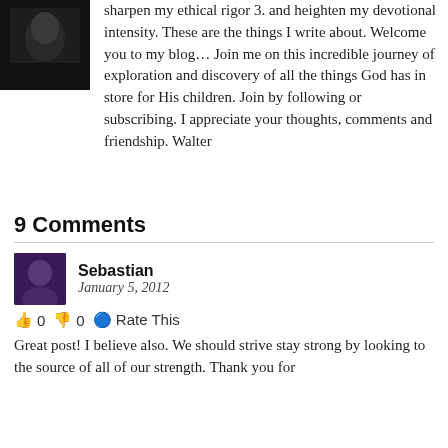[Figure (photo): Author profile photo, dark background, partial view]
sharpen my ethical rigor 3. and heighten my devotional intensity. These are the things I write about. Welcome you to my blog... Join me on this incredible journey of exploration and discovery of all the things God has in store for His children. Join by following or subscribing. I appreciate your thoughts, comments and friendship. Walter
9 Comments
[Figure (photo): Sebastian commenter avatar photo]
Sebastian
January 5, 2012
👍 0 👎 0 🔵 Rate This
Great post! I believe also. We should strive stay strong by looking to the source of all of our strength. Thank you for